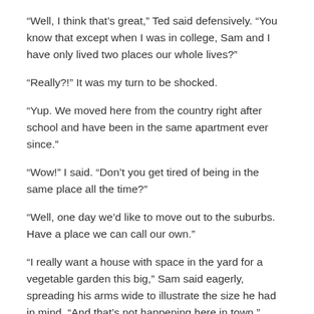“Well, I think that’s great,” Ted said defensively. “You know that except when I was in college, Sam and I have only lived two places our whole lives?”
“Really?!” It was my turn to be shocked.
“Yup. We moved here from the country right after school and have been in the same apartment ever since.”
“Wow!” I said. “Don’t you get tired of being in the same place all the time?”
“Well, one day we’d like to move out to the suburbs. Have a place we can call our own.”
“I really want a house with space in the yard for a vegetable garden this big,” Sam said eagerly, spreading his arms wide to illustrate the size he had in mind. “And that’s not happening here in town.”